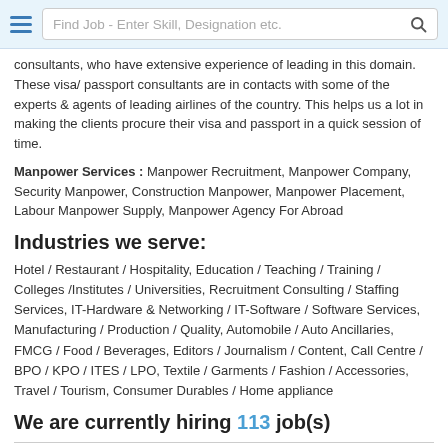Find Job - Enter Skill, Designation etc.
consultants, who have extensive experience of leading in this domain. These visa/ passport consultants are in contacts with some of the experts & agents of leading airlines of the country. This helps us a lot in making the clients procure their visa and passport in a quick session of time.
Manpower Services : Manpower Recruitment, Manpower Company, Security Manpower, Construction Manpower, Manpower Placement, Labour Manpower Supply, Manpower Agency For Abroad
Industries we serve:
Hotel / Restaurant / Hospitality, Education / Teaching / Training / Colleges /Institutes / Universities, Recruitment Consulting / Staffing Services, IT-Hardware & Networking / IT-Software / Software Services, Manufacturing / Production / Quality, Automobile / Auto Ancillaries, FMCG / Food / Beverages, Editors / Journalism / Content, Call Centre / BPO / KPO / ITES / LPO, Textile / Garments / Fashion / Accessories, Travel / Tourism, Consumer Durables / Home appliance
We are currently hiring 113 job(s)
Production Manager
8 - 10 yrs    Gurugram, Manesar